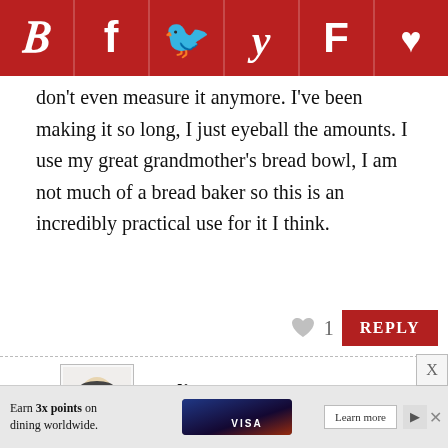[Figure (other): Social sharing bar with icons for Pinterest, Facebook, Twitter, Yummly, Flipboard, and a heart/save button on a dark red background]
don't even measure it anymore. I've been making it so long, I just eyeball the amounts. I use my great grandmother's bread bowl, I am not much of a bread baker so this is an incredibly practical use for it I think.
[Figure (other): Heart icon (gray) with count 1 and a red REPLY button]
Lydia Dunn
Jan 21, 2019 at 9:48 pm
Jenny, the bread bowl is a great idea. What do you use to strain your coffee? That's what I seem to be having trouble with…
[Figure (other): Advertisement banner: Earn 3x points on dining worldwide. Credit card image. Learn more button.]